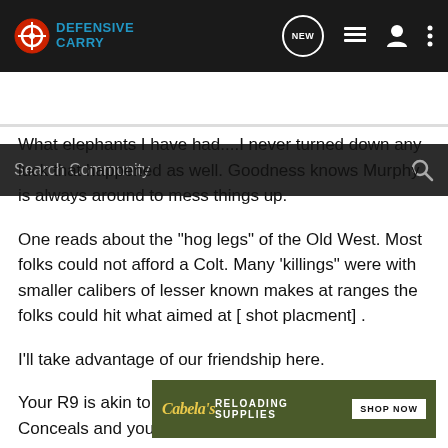Defensive Carry
What elephants I have had....I never turned down any luck that happened as well. Goodness knows Murphy is always around to mess things up.
One reads about the "hog legs" of the Old West. Most folks could not afford a Colt. Many 'killings" were with smaller calibers of lesser known makes at ranges the folks could hit what aimed at [ shot placment] .
I'll take advantage of our friendship here.
Your R9 is akin to the small .36 cal revos of old. Conceals and you plac
[Figure (screenshot): Cabela's Reloading Supplies advertisement banner with Shop Now button]